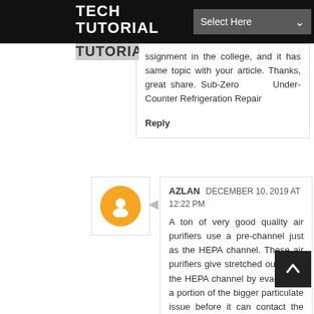TECH TUTORIAL
ssignment in the college, and it has same topic with your article. Thanks, great share. Sub-Zero Under-Counter Refrigeration Repair
Reply
[Figure (illustration): User avatar with orange circle and blogger icon]
AZLAN DECEMBER 10, 2019 AT 12:22 PM
A ton of very good quality air purifiers use a pre-channel just as the HEPA channel. These air purifiers give stretched out life to the HEPA channel by evacuating a portion of the bigger particulate issue before it can contact the HEPA channel, best hepa air purifier
Reply